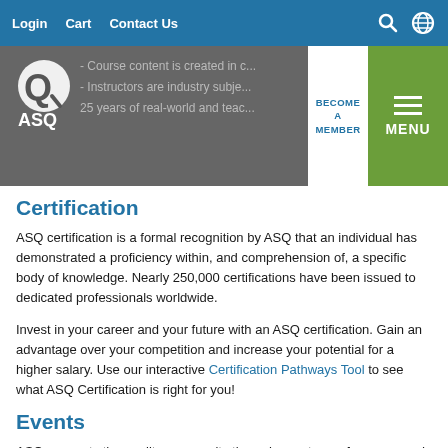Login  Cart  Contact Us
[Figure (logo): ASQ logo — circular icon with 'ASQ' text below]
- Course content is created in c... - Instructors are industry subje... 25 years of real-world and teac...
Certification
ASQ certification is a formal recognition by ASQ that an individual has demonstrated a proficiency within, and comprehension of, a specific body of knowledge. Nearly 250,000 certifications have been issued to dedicated professionals worldwide.
Invest in your career and your future with an ASQ certification. Gain an advantage over your competition and increase your potential for a higher salary. Use our interactive Certification Pathways Tool to see what ASQ Certification is right for you!
Events
ASQ connects the quality community through events, conferences, and meetings throughout the year.